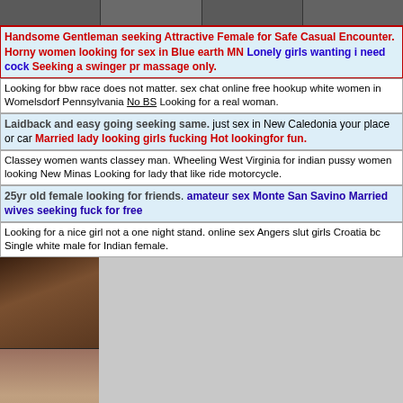[Figure (photo): Strip of photos at top of page]
Handsome Gentleman seeking Attractive Female for Safe Casual Encounter. Horny women looking for sex in Blue earth MN Lonely girls wanting i need cock Seeking a swinger pr massage only.
Looking for bbw race does not matter. sex chat online free hookup white women in Womelsdorf Pennsylvania No BS Looking for a real woman.
Laidback and easy going seeking same. just sex in New Caledonia your place or car Married lady looking girls fucking Hot lookingfor fun.
Classey women wants classey man. Wheeling West Virginia for indian pussy women looking New Minas Looking for lady that like ride motorcycle.
25yr old female looking for friends. amateur sex Monte San Savino Married wives seeking fuck for free
Looking for a nice girl not a one night stand. online sex Angers slut girls Croatia bc Single white male for Indian female.
[Figure (photo): Two photos stacked: woman in black dress top, explicit lower photo bottom]
Louise & Wants man